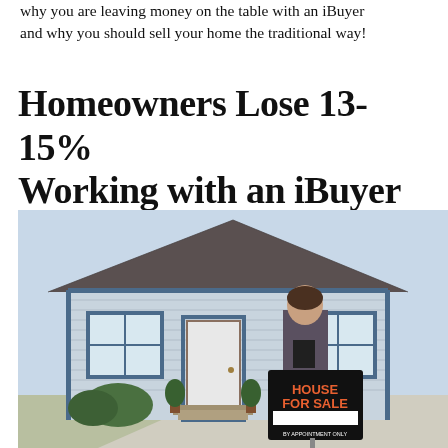why you are leaving money on the table with an iBuyer and why you should sell your home the traditional way!
Homeowners Lose 13-15% Working with an iBuyer
[Figure (photo): A female real estate agent standing in front of a suburban blue house holding a clipboard, with a 'House For Sale - By Appointment Only' sign in the foreground.]